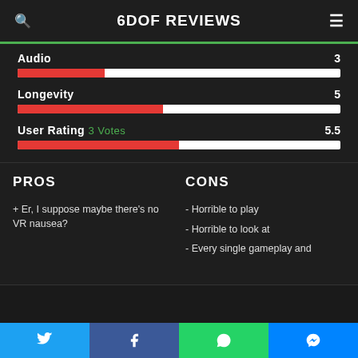6DOF REVIEWS
[Figure (bar-chart): Ratings]
PROS
CONS
+ Er, I suppose maybe there's no VR nausea?
- Horrible to play
- Horrible to look at
- Every single gameplay and
Twitter | Facebook | WhatsApp | Messenger